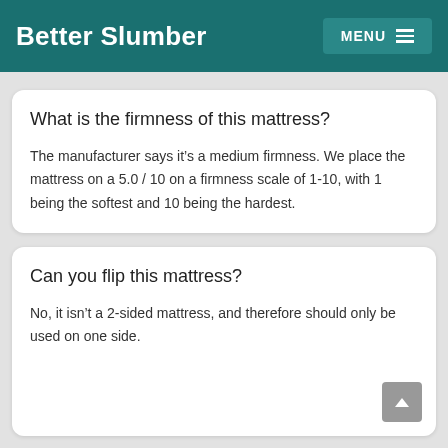Better Slumber  MENU
What is the firmness of this mattress?
The manufacturer says it’s a medium firmness. We place the mattress on a 5.0 / 10 on a firmness scale of 1-10, with 1 being the softest and 10 being the hardest.
Can you flip this mattress?
No, it isn’t a 2-sided mattress, and therefore should only be used on one side.